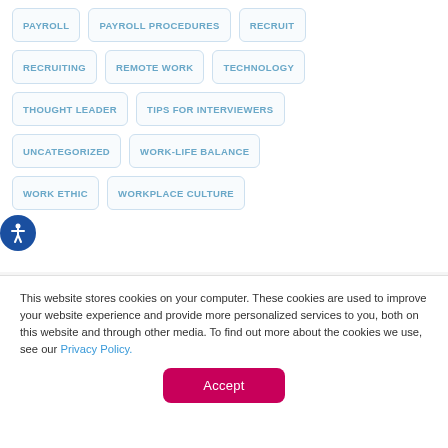PAYROLL
PAYROLL PROCEDURES
RECRUIT
RECRUITING
REMOTE WORK
TECHNOLOGY
THOUGHT LEADER
TIPS FOR INTERVIEWERS
UNCATEGORIZED
WORK-LIFE BALANCE
WORK ETHIC
WORKPLACE CULTURE
This website stores cookies on your computer. These cookies are used to improve your website experience and provide more personalized services to you, both on this website and through other media. To find out more about the cookies we use, see our Privacy Policy.
Accept